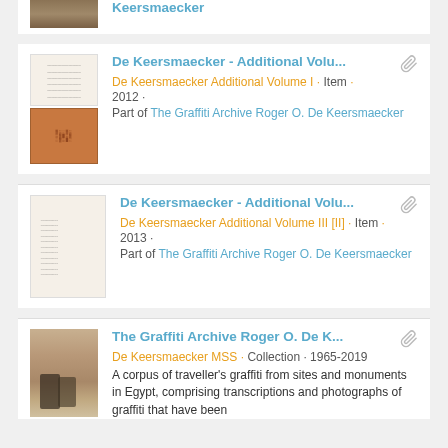Keersmaecker (partial top, continued from previous)
De Keersmaecker - Additional Volu... | De Keersmaecker Additional Volume I · Item · 2012 · Part of The Graffiti Archive Roger O. De Keersmaecker
De Keersmaecker - Additional Volu... | De Keersmaecker Additional Volume III [II] · Item · 2013 · Part of The Graffiti Archive Roger O. De Keersmaecker
The Graffiti Archive Roger O. De K... | De Keersmaecker MSS · Collection · 1965-2019 · A corpus of traveller's graffiti from sites and monuments in Egypt, comprising transcriptions and photographs of graffiti that have been